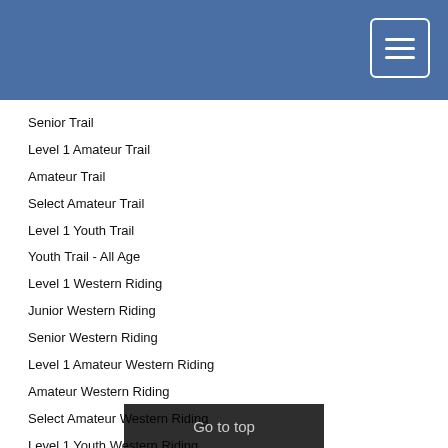Senior Trail
Level 1 Amateur Trail
Amateur Trail
Select Amateur Trail
Level 1 Youth Trail
Youth Trail - All Age
Level 1 Western Riding
Junior Western Riding
Senior Western Riding
Level 1 Amateur Western Riding
Amateur Western Riding
Select Amateur Western Riding
Level 1 Youth Western Riding
Youth Western Riding - All Age
Level 1 Amateur Western Horsemanship
Amateur Western Horsemanship
Go to top